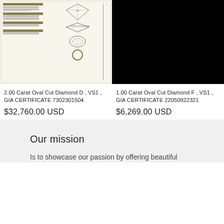[Figure (other): GIA certificate scan showing diamond grading report with oval cut diamond diagram, profile view, and scale measurements]
[Figure (other): Black background image showing 1.00 Carat Oval Cut Diamond F VS1 with GIA certificate]
2.00 Carat Oval Cut Diamond D , VS1 , GIA CERTIFICATE 7302301504
$32,760.00 USD
1.00 Carat Oval Cut Diamond F , VS1 , GIA CERTIFICATE 22050922321
$6,269.00 USD
Our mission
Is to showcase our passion by offering beautiful